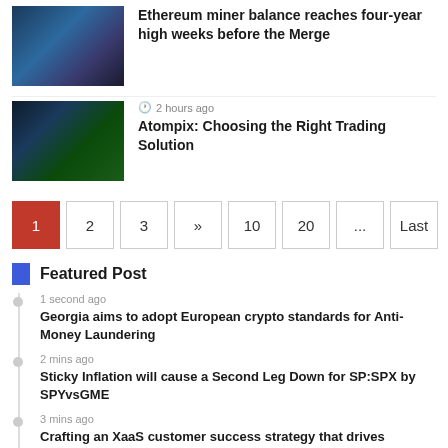[Figure (photo): Illustrated figure in dark blue tones, appears to be a fantasy character]
Ethereum miner balance reaches four-year high weeks before the Merge
[Figure (photo): Person holding smartphone with stock chart on screen, green and red candlestick chart in background]
2 hours ago
Atompix: Choosing the Right Trading Solution
Pagination: 1 2 3 » 10 20 ... Last
Featured Post
1 second ago
Georgia aims to adopt European crypto standards for Anti-Money Laundering
2 mins ago
Sticky Inflation will cause a Second Leg Down for SP:SPX by SPYvsGME
3 mins ago
Crafting an XaaS customer success strategy that drives